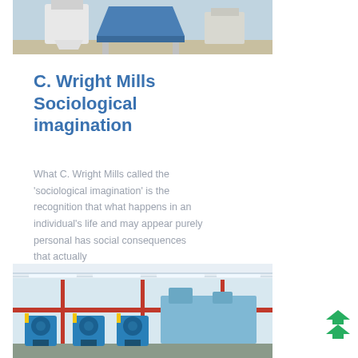[Figure (photo): Industrial machinery or equipment photo at the top of the page, showing large white/blue mechanical structures on a concrete floor]
C. Wright Mills Sociological imagination
What C. Wright Mills called the 'sociological imagination' is the recognition that what happens in an individual's life and may appear purely personal has social consequences that actually
[Figure (photo): Industrial factory interior photo showing blue heavy machinery, red structural beams, overhead lighting, and industrial equipment on a factory floor]